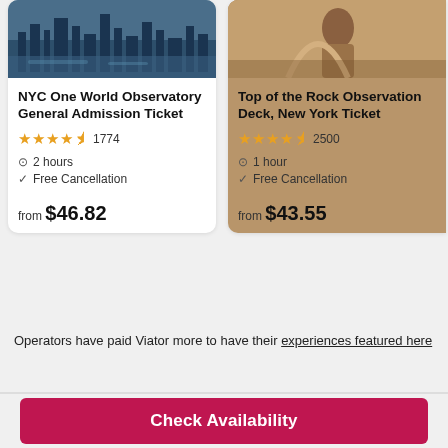[Figure (photo): Aerial photo of NYC skyline and harbor at night/dusk, top of card 1]
NYC One World Observatory General Admission Ticket
4.5 stars, 1774 reviews
2 hours
Free Cancellation
from $46.82
[Figure (photo): Photo of a person with a camera in front of St. Louis Arch or similar landmark, top of card 2]
Top of the Rock Observation Deck, New York Ticket
4.5 stars, 2500 reviews
1 hour
Free Cancellation
from $43.55
Operators have paid Viator more to have their experiences featured here
Check Availability